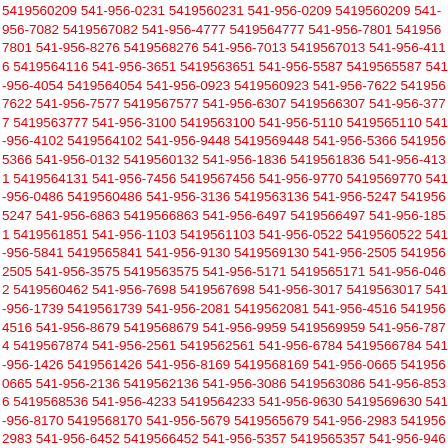5419560209 541-956-0231 5419560231 541-956-0209 5419560209 541-956-7082 5419567082 541-956-4777 5419564777 541-956-7801 5419567801 541-956-8276 5419568276 541-956-7013 5419567013 541-956-4116 5419564116 541-956-3651 5419563651 541-956-5587 5419565587 541-956-4054 5419564054 541-956-0923 5419560923 541-956-7622 5419567622 541-956-7577 5419567577 541-956-6307 5419566307 541-956-3777 5419563777 541-956-3100 5419563100 541-956-5110 5419565110 541-956-4102 5419564102 541-956-9448 5419569448 541-956-5366 5419565366 541-956-0132 5419560132 541-956-1836 5419561836 541-956-4131 5419564131 541-956-7456 5419567456 541-956-9770 5419569770 541-956-0486 5419560486 541-956-3136 5419563136 541-956-5247 5419565247 541-956-6863 5419566863 541-956-6497 5419566497 541-956-1851 5419561851 541-956-1103 5419561103 541-956-0522 5419560522 541-956-5841 5419565841 541-956-9130 5419569130 541-956-2505 5419562505 541-956-3575 5419563575 541-956-5171 5419565171 541-956-0462 5419560462 541-956-7698 5419567698 541-956-3017 5419563017 541-956-1739 5419561739 541-956-2081 5419562081 541-956-4516 5419564516 541-956-8679 5419568679 541-956-9959 5419569959 541-956-7874 5419567874 541-956-2561 5419562561 541-956-6784 5419566784 541-956-1426 5419561426 541-956-8169 5419568169 541-956-0665 5419560665 541-956-2136 5419562136 541-956-3086 5419563086 541-956-8536 5419568536 541-956-4233 5419564233 541-956-9630 5419569630 541-956-8170 5419568170 541-956-5679 5419565679 541-956-2983 5419562983 541-956-6452 5419566452 541-956-5357 5419565357 541-956-9464 5419569464 541-956-...